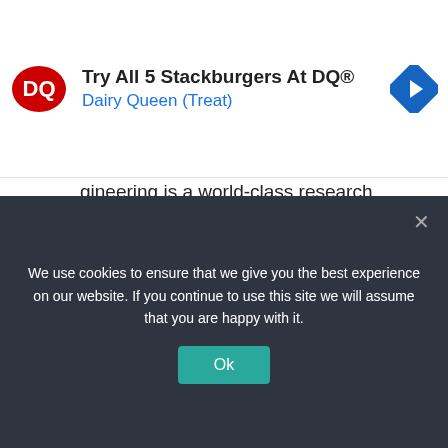[Figure (other): Dairy Queen advertisement banner with DQ logo, navigation icon, and text 'Try All 5 Stackburgers At DQ® Dairy Queen (Treat)']
gineering is a world-class research institute. This university offers far more degree specialisations than any other Australian university.
Its imaginative teaching and practical learning moulds their graduates into the future leaders of engineering. They are consistently regarded as Australia's leading engineering faculty.
We use cookies to ensure that we give you the best experience on our website. If you continue to use this site we will assume that you are happy with it.